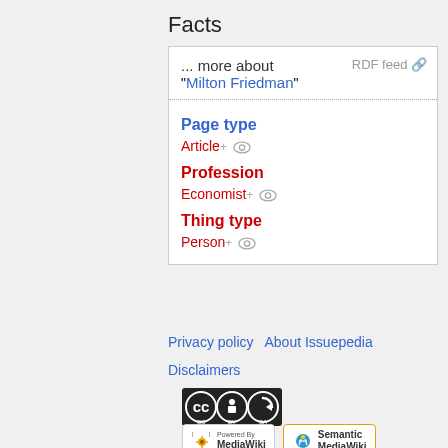Facts
| ... more about "Milton Friedman" | RDF feed |
| Page type |  |
| Article+ |  |
| Profession |  |
| Economist+ |  |
| Thing type |  |
| Person+ |  |
Privacy policy   About Issuepedia
Disclaimers
[Figure (logo): Creative Commons BY-SA license badge]
[Figure (logo): Powered by MediaWiki badge and Semantic MediaWiki badge]